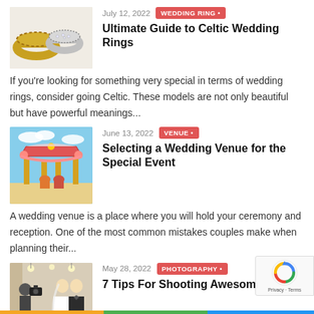[Figure (photo): Three Celtic wedding rings — gold bands with intricate patterns and silver diamond-encrusted ring]
July 12, 2022
WEDDING RING •
Ultimate Guide to Celtic Wedding Rings
If you're looking for something very special in terms of wedding rings, consider going Celtic. These models are not only beautiful but have powerful meanings...
[Figure (photo): Colorful Indian wedding mandap with flower decorations and people in traditional attire]
June 13, 2022
VENUE •
Selecting a Wedding Venue for the Special Event
A wedding venue is a place where you will hold your ceremony and reception. One of the most common mistakes couples make when planning their...
[Figure (photo): Photographer shooting a wedding couple in formal attire]
May 28, 2022
PHOTOGRAPHY •
7 Tips For Shooting Awesome